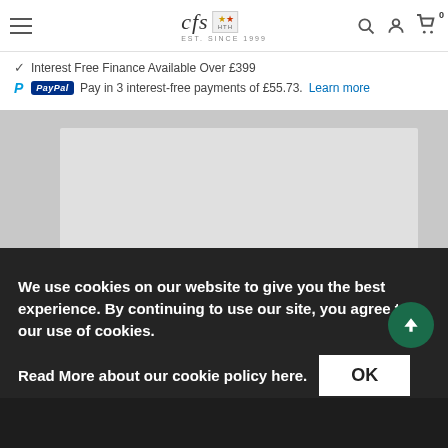cfs EST. SINCE 1999 [navigation: hamburger menu, search, account, cart]
✓ Interest Free Finance Available Over £399
PayPal Pay in 3 interest-free payments of £55.73. Learn more
[Figure (photo): Product image of a dark/grey mattress or flat panel on a grey background]
We use cookies on our website to give you the best experience. By continuing to use our site, you agree to our use of cookies.
Read More about our cookie policy here.
OK